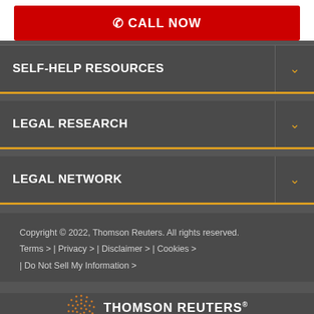[Figure (other): Red CALL NOW button with phone icon]
SELF-HELP RESOURCES
LEGAL RESEARCH
LEGAL NETWORK
Copyright © 2022, Thomson Reuters. All rights reserved.
Terms > | Privacy > | Disclaimer > | Cookies >
 | Do Not Sell My Information >
[Figure (logo): Thomson Reuters logo with orange dot-matrix globe icon and THOMSON REUTERS wordmark]